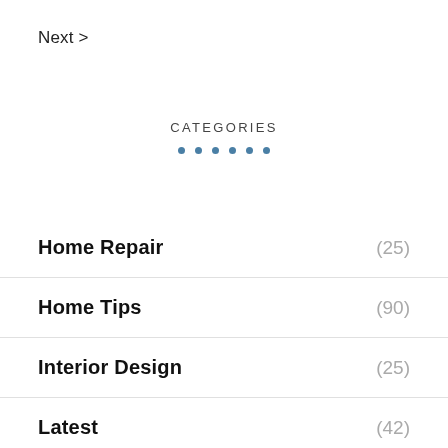Next >
CATEGORIES
Home Repair (25)
Home Tips (90)
Interior Design (25)
Latest (42)